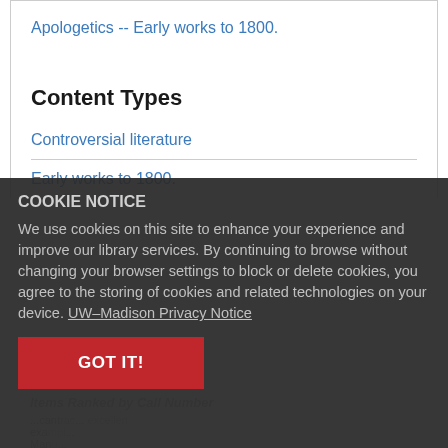Apologetics -- Early works to 1800.
Content Types
Controversial literature
Early works to 1800.
COOKIE NOTICE
We use cookies on this site to enhance your experience and improve our library services. By continuing to browse without changing your browser settings to block or delete cookies, you agree to the storing of cookies and related technologies on your device. UW–Madison Privacy Notice
GOT IT!